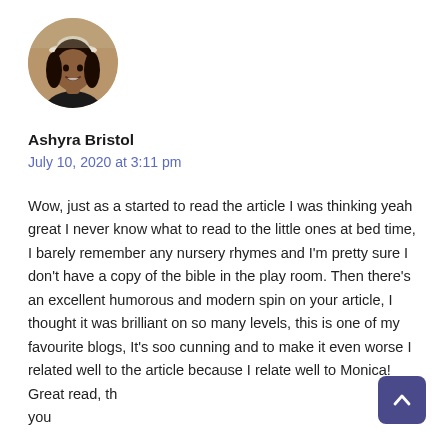[Figure (photo): Circular avatar photo of a woman wearing a white hat, dark clothing, smiling, with background of a room.]
Ashyra Bristol
July 10, 2020 at 3:11 pm
Wow, just as a started to read the article I was thinking yeah great I never know what to read to the little ones at bed time, I barely remember any nursery rhymes and I'm pretty sure I don't have a copy of the bible in the play room. Then there's an excellent humorous and modern spin on your article, I thought it was brilliant on so many levels, this is one of my favourite blogs, It's soo cunning and to make it even worse I related well to the article because I relate well to Monica! Great read, th you
[Figure (illustration): Scroll-to-top button: dark purple/indigo rounded rectangle with a white upward chevron arrow icon.]